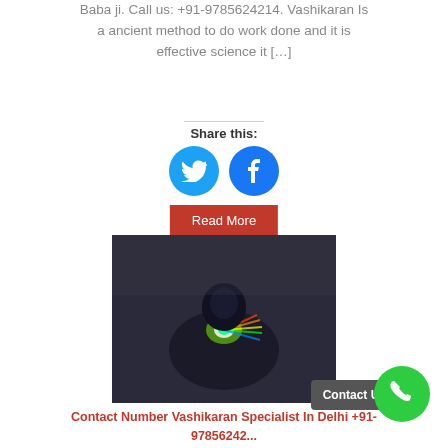Baba ji. Call us: +91-9785624214. Vashikaran Is a ancient method to do work done and it is effective science it [...]
Share this:
[Figure (illustration): Twitter and Facebook social share icon circles (blue)]
Read More
[Figure (photo): Child in dark robe holding glowing light in dark atmospheric background]
Contact Number Vashikaran Specialist In Delhi +91-97856242...
Contact Us
[Figure (illustration): Green phone circle button]
Vashikaran Specialist In...